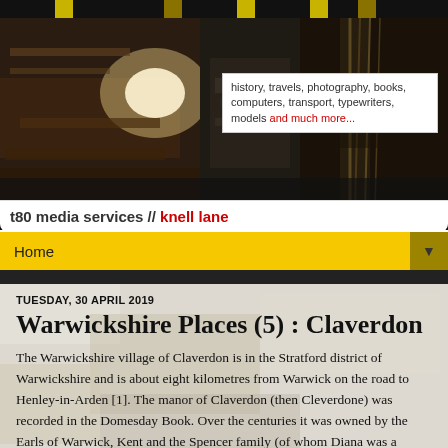[Figure (photo): Website header banner showing an industrial/mechanical scene, dark tones with bright lighting, with a tagline box reading: history, travels, photography, books, computers, transport, typewriters, models and much more...]
t80 media services // knell lane
Home
TUESDAY, 30 APRIL 2019
Warwickshire Places (5) : Claverdon
The Warwickshire village of Claverdon is in the Stratford district of Warwickshire and is about eight kilometres from Warwick on the road to Henley-in-Arden [1]. The manor of Claverdon (then Cleverdone) was recorded in the Domesday Book. Over the centuries it was owned by the Earls of Warwick, Kent and the Spencer family (of whom Diana was a notable member in recent decades).